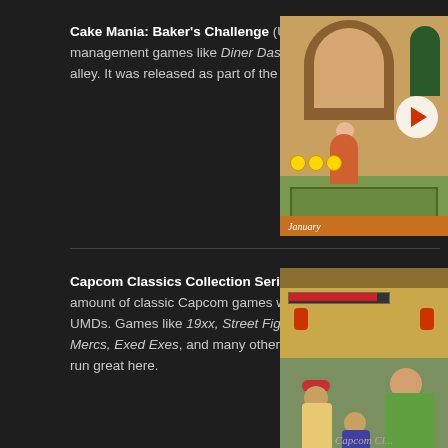Cake Mania: Baker's Challenge (US) – If you love time management games like Diner Dash then this game is up your alley. It was released as part of the "PSP Minis" library.
[Figure (screenshot): Screenshot of Cake Mania: Baker's Challenge showing a bakery interior scene with a character and January label at bottom]
Capcom Classics Collection Series (All Regions) – A good amount of classic Capcom games were released on two different UMDs. Games like 19xx, Street Fighter II, Ghosts and Goblins, Mercs, Exed Exes, and many others were well put together and run great here.
[Figure (screenshot): Screenshot of Capcom Classics Collection Series showing a Street Fighter II scene with characters in a Chinese setting]
Capcom Cl...